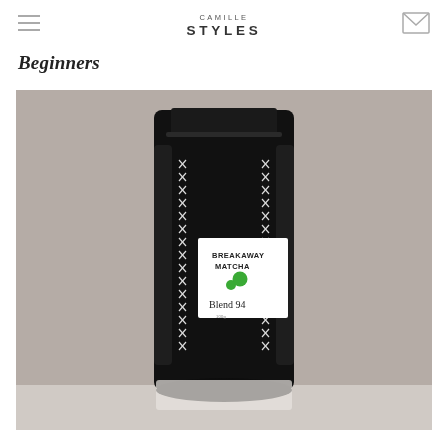CAMILLE STYLES
Beginners
[Figure (photo): A black matte stand-up pouch of Breakaway Matcha Blend 94 against a warm gray background. The pouch has a decorative white stitched pattern on the front and a white label reading 'BREAKAWAY MATCHA' with two green circles and 'Blend 94' in serif text.]